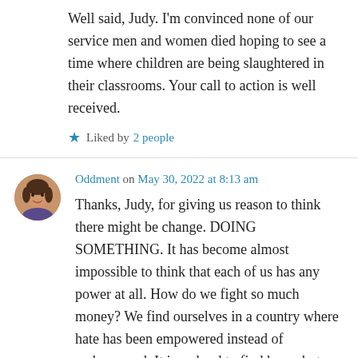Well said, Judy. I'm convinced none of our service men and women died hoping to see a time where children are being slaughtered in their classrooms. Your call to action is well received.
★ Liked by 2 people
Oddment on May 30, 2022 at 8:13 am
Thanks, Judy, for giving us reason to think there might be change. DOING SOMETHING. It has become almost impossible to think that each of us has any power at all. How do we fight so much money? We find ourselves in a country where hate has been empowered instead of embarrassed. It is so hard to find hope, but that